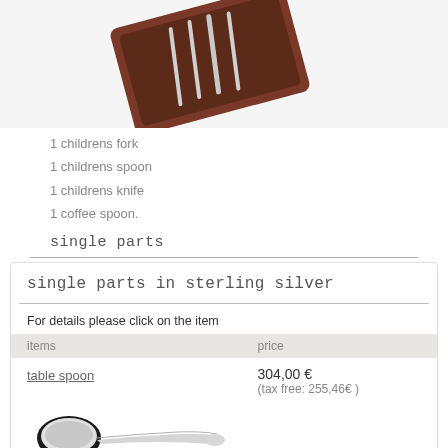[Figure (photo): A set of silver children's cutlery in a dark red/brown wooden presentation box, viewed at an angle from above. The box contains multiple pieces of silverware.]
1 childrens fork
1 childrens spoon
1 childrens knife
1 coffee spoon.
single parts
single parts in sterling silver
For details please click on the item
| items | price |
| --- | --- |
| table spoon | 304,00 €
(tax free: 255,46€ ) |
[Figure (photo): A silver table spoon photographed from above, showing a polished oval bowl and a smooth handle with a rounded end. Length approximately 210 mm.]
length: 210 mm -